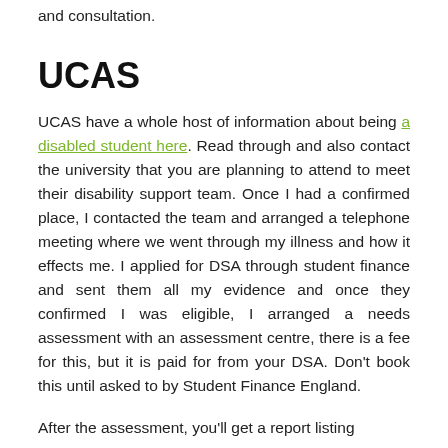and consultation.
UCAS
UCAS have a whole host of information about being a disabled student here. Read through and also contact the university that you are planning to attend to meet their disability support team. Once I had a confirmed place, I contacted the team and arranged a telephone meeting where we went through my illness and how it effects me. I applied for DSA through student finance and sent them all my evidence and once they confirmed I was eligible, I arranged a needs assessment with an assessment centre, there is a fee for this, but it is paid for from your DSA. Don’t book this until asked to by Student Finance England.
After the assessment, you’ll get a report listing